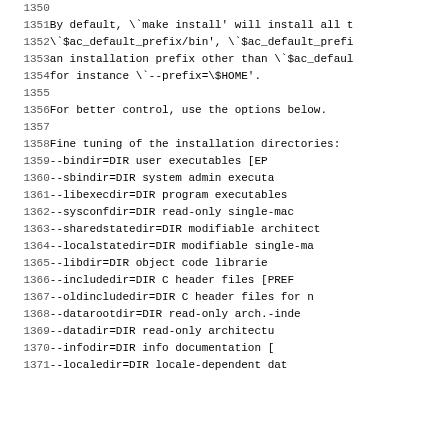1350 (blank)
1351   By default, \`make install' will install all t
1352   \`$ac_default_prefix/bin', \`$ac_default_prefi
1353   an installation prefix other than \`$ac_defaul
1354   for instance \`--prefix=\$HOME'.
1355 (blank)
1356   For better control, use the options below.
1357 (blank)
1358   Fine tuning of the installation directories:
1359     --bindir=DIR             user executables [EP
1360     --sbindir=DIR            system admin executa
1361     --libexecdir=DIR         program executables
1362     --sysconfdir=DIR         read-only single-mac
1363     --sharedstatedir=DIR     modifiable architect
1364     --localstatedir=DIR      modifiable single-ma
1365     --libdir=DIR             object code librarie
1366     --includedir=DIR         C header files [PREF
1367     --oldincludedir=DIR      C header files for n
1368     --datarootdir=DIR        read-only arch.-inde
1369     --datadir=DIR            read-only architectu
1370     --infodir=DIR            info documentation [
1371     --localedir=DIR          locale-dependent dat